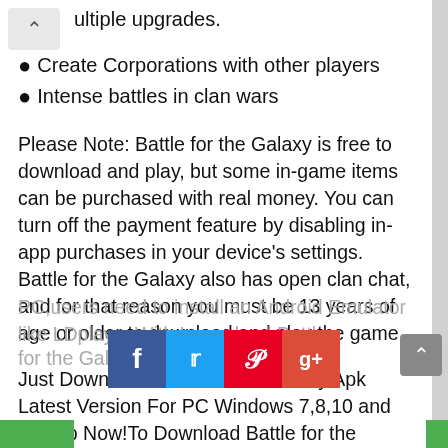ultiple upgrades.
Create Corporations with other players
Intense battles in clan wars
Please Note: Battle for the Galaxy is free to download and play, but some in-game items can be purchased with real money. You can turn off the payment feature by disabling in-app purchases in your device’s settings. Battle for the Galaxy also has open clan chat, and for that reason you must be 13 years of age or older to download and play the game.
Just Download Battle for the Galaxy Apk Latest Version For PC Windows 7,8,10 and Laptop Now!To Download Battle for the Galaxy For PC,users need to install an Android Emulator like LDplayer.With L... wnload Battle
[Figure (infographic): Social share buttons: Facebook, Twitter, Pinterest, Google+]